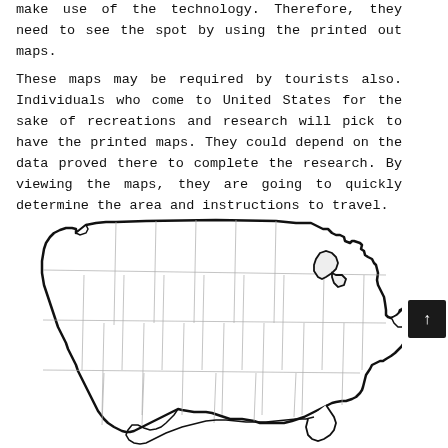make use of the technology. Therefore, they need to see the spot by using the printed out maps.
These maps may be required by tourists also. Individuals who come to United States for the sake of recreations and research will pick to have the printed maps. They could depend on the data proved there to complete the research. By viewing the maps, they are going to quickly determine the area and instructions to travel.
[Figure (map): Outline map of the contiguous United States showing state boundaries with thick black outer border and thin gray internal state lines.]